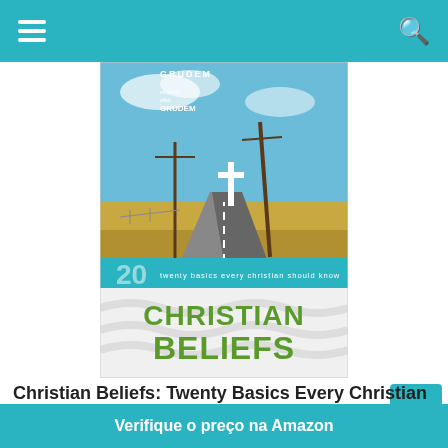navigation bar with hamburger menu and search icon
[Figure (illustration): Book cover of 'Christian Beliefs: Twenty Basics Every Christian Should Know' edited by Elliot Grudem. Top portion shows a rural road with a white cross and utility pole against a blue sky. Bottom portion has white wavy texture background with 'CHRISTIAN BELIEFS' in large green bold text and subtitle 'twenty basics every christian should know' in white text on a blue bar.]
Christian Beliefs: Twenty Basics Every Christian Should Know
Verifique o preço na Amazon